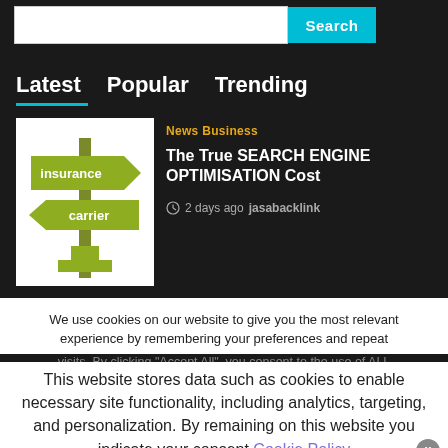[Figure (screenshot): Search bar input field with cyan Search button]
Latest  Popular  Trending
[Figure (illustration): Insurance carrier directional sign illustration with green arrow signs reading 'insurance' and 'carrier']
News Business
The True SEARCH ENGINE OPTIMISATION Cost
2 days ago  jasabacklink
We use cookies on our website to give you the most relevant experience by remembering your preferences and repeat visits. By clicking "Accept All", you consent to the use of ALL the cookies. However, you may visit "Cookie Settings" to provide a controlled consent.
This website stores data such as cookies to enable necessary site functionality, including analytics, targeting, and personalization. By remaining on this website you indicate your consent Cookie Policy